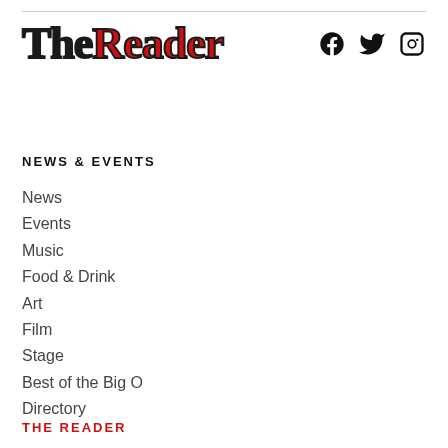[Figure (logo): The Reader logo in serif font with 'The' in black and 'Reader' in red]
[Figure (infographic): Social media icons: Facebook, Twitter, Instagram]
NEWS & EVENTS
News
Events
Music
Food & Drink
Art
Film
Stage
Best of the Big O
Directory
THE READER